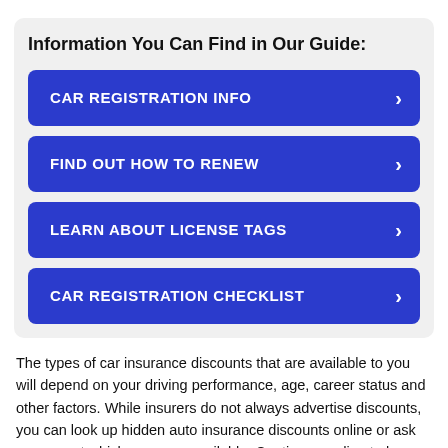Information You Can Find in Our Guide:
CAR REGISTRATION INFO
FIND OUT HOW TO RENEW
LEARN ABOUT LICENSE TAGS
CAR REGISTRATION CHECKLIST
The types of car insurance discounts that are available to you will depend on your driving performance, age, career status and other factors. While insurers do not always advertise discounts, you can look up hidden auto insurance discounts online or ask your agent which ones are available. Continue reading to learn about the car insurance discounts...